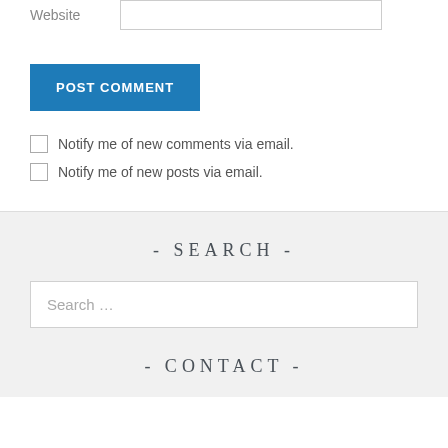Website
POST COMMENT
Notify me of new comments via email.
Notify me of new posts via email.
- SEARCH -
Search …
- CONTACT -